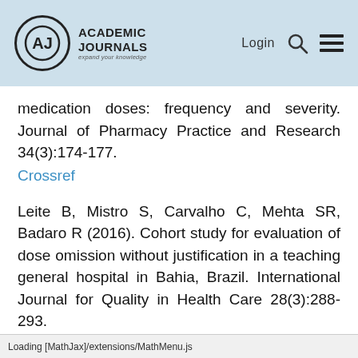Academic Journals | Login
medication doses: frequency and severity. Journal of Pharmacy Practice and Research 34(3):174-177.
Crossref
Leite B, Mistro S, Carvalho C, Mehta SR, Badaro R (2016). Cohort study for evaluation of dose omission without justification in a teaching general hospital in Bahia, Brazil. International Journal for Quality in Health Care 28(3):288-293.
Crossref
Loading [MathJax]/extensions/MathMenu.js